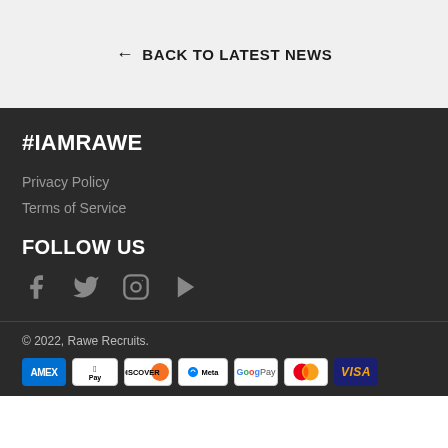← BACK TO LATEST NEWS
#IAMRAWE
Privacy Policy
Terms of Service
FOLLOW US
[Figure (infographic): Social media icons: Facebook, Twitter, Instagram, YouTube]
© 2022, Rawe Recruits.
[Figure (infographic): Payment method icons: AMEX, Apple Pay, Discover, Meta, G Pay, Mastercard, VISA]